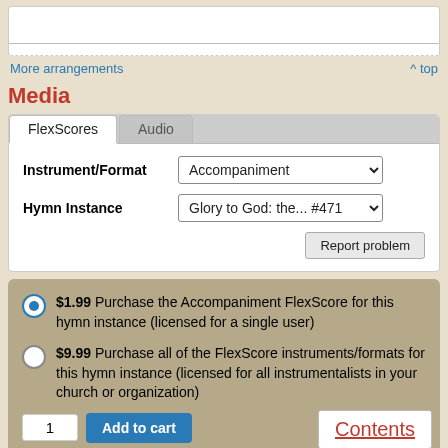More arrangements  ^ top
Media
FlexScores  Audio — tabs
Instrument/Format: Accompaniment
Hymn Instance: Glory to God: the... #471
Report problem
$1.99 Purchase the Accompaniment FlexScore for this hymn instance (licensed for a single user)
$9.99 Purchase all of the FlexScore instruments/formats for this hymn instance (licensed for all instrumentalists in your church or organization)
1  Add to cart
Contents